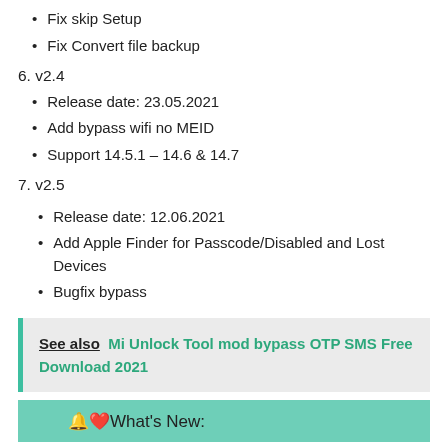Fix skip Setup
Fix Convert file backup
6. v2.4
Release date: 23.05.2021
Add bypass wifi no MEID
Support 14.5.1 – 14.6 & 14.7
7. v2.5
Release date: 12.06.2021
Add Apple Finder for Passcode/Disabled and Lost Devices
Bugfix bypass
See also  Mi Unlock Tool mod bypass OTP SMS Free Download 2021
🔔❤️What's New: